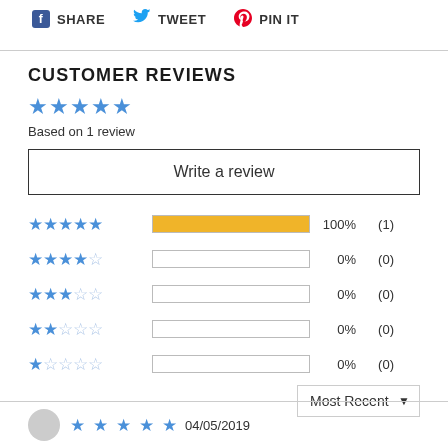SHARE   TWEET   PIN IT
CUSTOMER REVIEWS
Based on 1 review
Write a review
[Figure (bar-chart): Customer review rating distribution]
Most Recent
04/05/2019